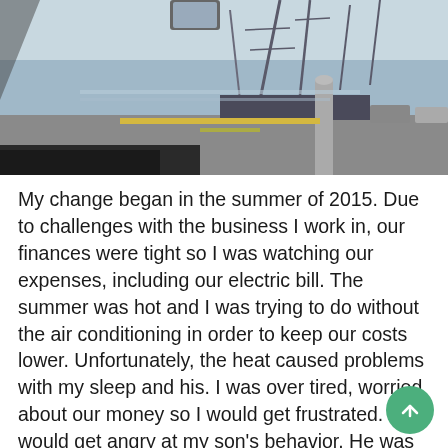[Figure (photo): A photo taken from inside a car looking out through the windshield toward a waterfront scene. A tall-masted sailing ship or naval vessel is visible in the background along with cranes, a road, and parked vehicles. The car's dashboard and rearview mirror are partially visible.]
My change began in the summer of 2015. Due to challenges with the business I work in, our finances were tight so I was watching our expenses, including our electric bill. The summer was hot and I was trying to do without the air conditioning in order to keep our costs lower. Unfortunately, the heat caused problems with my sleep and his. I was over tired, worried about our money so I would get frustrated. I would get angry at my son's behavior. He was also frustrated and angry, which made for an unpleasant household. To add to the mix, my husband and I were also pushing him to study for the GED.